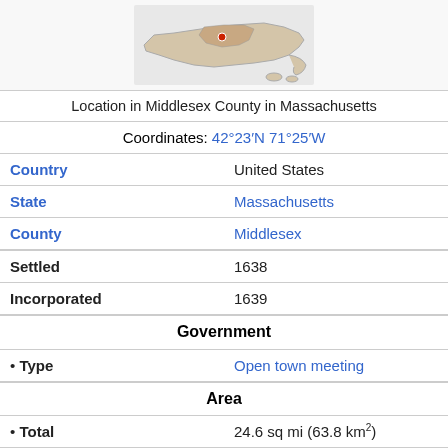[Figure (map): Map showing location in Middlesex County in Massachusetts]
Location in Middlesex County in Massachusetts
Coordinates: 42°23′N 71°25′W
| Country | United States |
| State | Massachusetts |
| County | Middlesex |
| Settled | 1638 |
| Incorporated | 1639 |
| Government |  |
| • Type | Open town meeting |
| Area |  |
| • Total | 24.6 sq mi (63.8 km²) |
| • Land | 24.4 sq mi (63.1 km²) |
| • Water | 0.3 sq mi (0.7 km²) |
| Elevation | 190 ft (58 m) |
| Population (2020) |  |
| • Total | 18,934 |
| Time zone | UTC−5 (Eastern) |